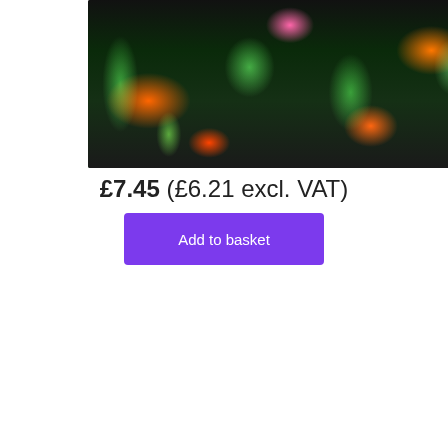[Figure (photo): Tropical pattern fabric with colorful parrots, toucans, and tropical flowers on a dark/black background with lush green foliage]
£7.45 (£6.21 excl. VAT)
Add to basket
[Figure (photo): Tropical pattern fabric with colorful parrots, toucans, and tropical flowers on a white background with lush green foliage. Shopping cart icon overlay in bottom right corner.]